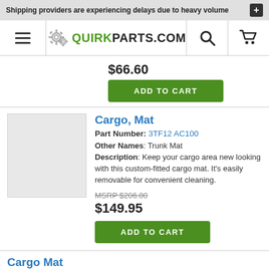Shipping providers are experiencing delays due to heavy volume
[Figure (logo): QuirkParts.com logo with gear icons]
$66.60
ADD TO CART
Cargo, Mat
Part Number: 3TF12 AC100
Other Names: Trunk Mat
Description: Keep your cargo area new looking with this custom-fitted cargo mat. It's easily removable for convenient cleaning.
MSRP $206.00
$149.95
ADD TO CART
Cargo Mat